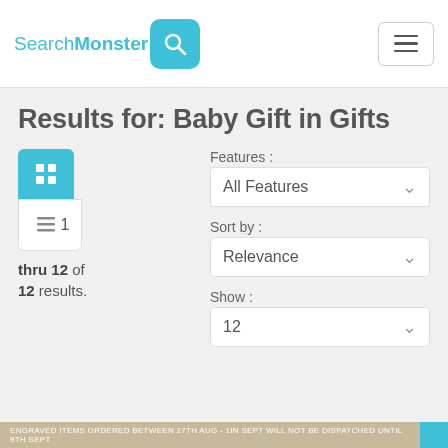SearchMonster [search icon] [hamburger menu]
Results for: Baby Gift in Gifts
1 thru 12 of 12 results.
Features : All Features
Sort by : Relevance
Show : 12
ENGRAVED ITEMS ORDERED BETWEEN 27TH AUG - 1IN SEPT WILL NOT BE DISPATCHED UNTIL 9TH SEPT